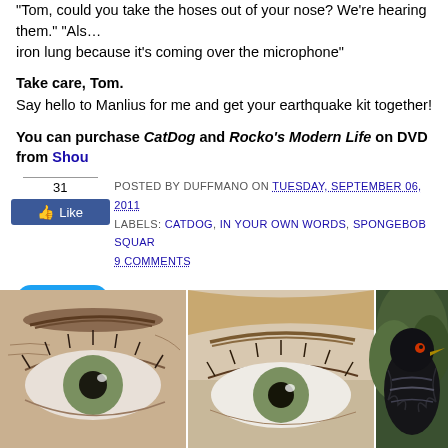"Tom, could you take the hoses out of your nose? We're hearing them." "Als... iron lung because it's coming over the microphone"
Take care, Tom.
Say hello to Manlius for me and get your earthquake kit together!
You can purchase CatDog and Rocko's Modern Life on DVD from Shou...
POSTED BY DUFFMANO ON TUESDAY, SEPTEMBER 06, 2011
LABELS: CATDOG, IN YOUR OWN WORDS, SPONGEBOB SQUAR...
9 COMMENTS
[Figure (screenshot): Facebook Like button showing count of 31 and blue Like button]
[Figure (screenshot): Twitter Tweet button in blue rounded pill shape]
Sponsored
[Figure (photo): Three side-by-side advertisement images: two close-up photos of eyes/eyebrows of women, and one photo of a black bird]